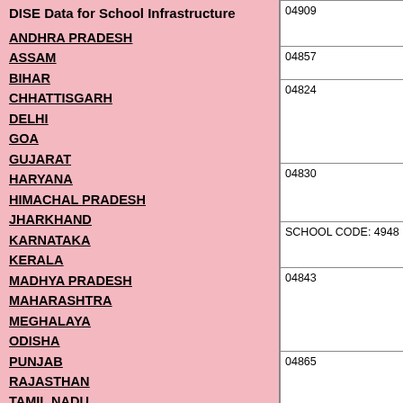DISE Data for School Infrastructure
ANDHRA PRADESH
ASSAM
BIHAR
CHHATTISGARH
DELHI
GOA
GUJARAT
HARYANA
HIMACHAL PRADESH
JHARKHAND
KARNATAKA
KERALA
MADHYA PRADESH
MAHARASHTRA
MEGHALAYA
ODISHA
PUNJAB
RAJASTHAN
TAMIL NADU
UTTARAKHAND
UTTAR PRADESH
WEST BENGAL
| Code | School Name |
| --- | --- |
| 04909 | SR SEC SECTOR CHANDIC |
| 04857 | K V SEC A CHAND |
| 04824 | GOVT MO SR SEC SCHOOL SECTOR CHANDIC |
| 04830 | GOVT GI SEC SCH SECTOR CHANDIC |
| SCHOOL CODE: 4948 | RYAN INTERNA CHANDIC |
| 04843 | GOVT MO SR SEC SCHOOL SECTOR CHANDIC |
| 04865 | S G G S SCHOOL SECTOR CHANDIC |
|  | CHANDIC BAPTIST |